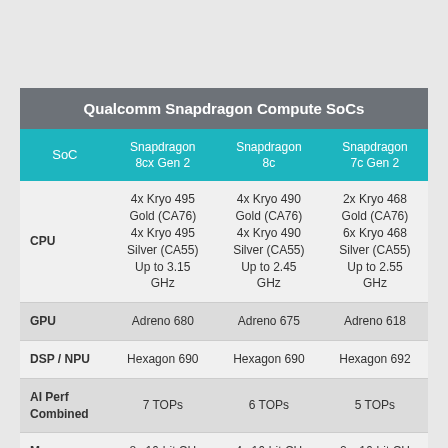| SoC | Snapdragon 8cx Gen 2 | Snapdragon 8c | Snapdragon 7c Gen 2 |
| --- | --- | --- | --- |
| CPU | 4x Kryo 495 Gold (CA76)
4x Kryo 495 Silver (CA55)
Up to 3.15 GHz | 4x Kryo 490 Gold (CA76)
4x Kryo 490 Silver (CA55)
Up to 2.45 GHz | 2x Kryo 468 Gold (CA76)
6x Kryo 468 Silver (CA55)
Up to 2.55 GHz |
| GPU | Adreno 680 | Adreno 675 | Adreno 618 |
| DSP / NPU | Hexagon 690 | Hexagon 690 | Hexagon 692 |
| AI Perf Combined | 7 TOPs | 6 TOPs | 5 TOPs |
| Memory | 8x 16-bit CH | 4x 16-bit CH | 2 x 16-bit CH |